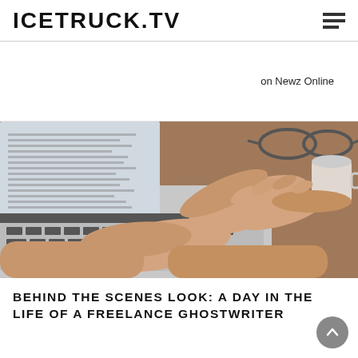ICETRUCK.TV
on Newz Online
[Figure (photo): Close-up of hands typing on a laptop keyboard, with glasses and a coffee cup visible in the background on a wooden desk.]
BEHIND THE SCENES LOOK: A DAY IN THE LIFE OF A FREELANCE GHOSTWRITER